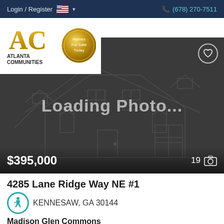Login / Register  🇺🇸 ▼    ☎ (678) 270-7511
[Figure (logo): Atlanta Communities real estate logo with AC monogram in gold and a gold circular badge reading 'Homes For Sale Today']
MENU
[Figure (photo): Loading Photo... placeholder image of a house outline on dark gray background. Shows price $395,000 and photo count 19.]
$395,000
19 📷
4285 Lane Ridge Way NE #1
KENNESAW, GA 30144
Madison Glen Commons